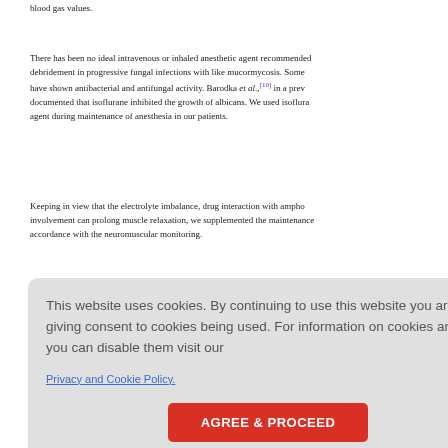blood gas values.
There has been no ideal intravenous or inhaled anesthetic agent recommended for debridement in progressive fungal infections with like mucormycosis. Some have shown antibacterial and antifungal activity. Barodka et al.,[10] in a previous documented that isoflurane inhibited the growth of albicans. We used isoflurane as agent during maintenance of anesthesia in our patients.
Keeping in view that the electrolyte imbalance, drug interaction with ampho involvement can prolong muscle relaxation, we supplemented the maintenance in accordance with the neuromuscular monitoring.
t bleeding irement
This website uses cookies. By continuing to use this website you are giving consent to cookies being used. For information on cookies and how you can disable them visit our
Privacy and Cookie Policy.
AGREE & PROCEED
the pati ize can
The contents in our patients here.